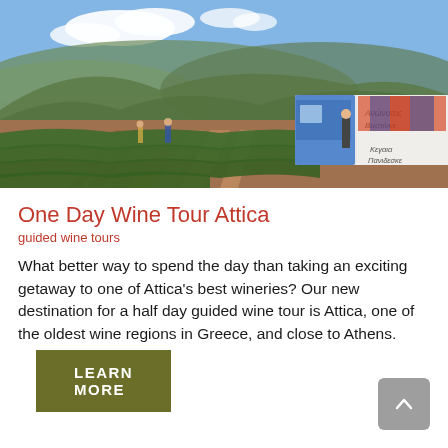[Figure (photo): Vineyard rows with red soil and green grapevines in Attica, Greece. Workers and a truck with Greek text signage visible in the background, with hills and blue sky with clouds.]
One Day Wine Tour Attica
guided wine tours
What better way to spend the day than taking an exciting getaway to one of Attica's best wineries? Our new destination for a half day guided wine tour is Attica, one of the oldest wine regions in Greece, and close to Athens.
LEARN MORE